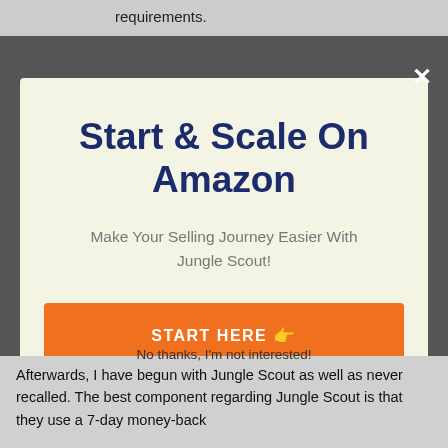requirements.
[Figure (screenshot): Modal popup with close button (×) overlaying a dark grey background]
Start & Scale On Amazon
Make Your Selling Journey Easier With Jungle Scout!
START HERE 👉
No thanks, I'm not interested!
Afterwards, I have begun with Jungle Scout as well as never recalled. The best component regarding Jungle Scout is that they use a 7-day money-back